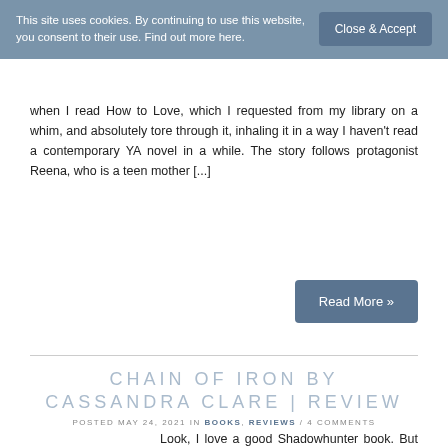This site uses cookies. By continuing to use this website, you consent to their use. Find out more here.
Close & Accept
when I read How to Love, which I requested from my library on a whim, and absolutely tore through it, inhaling it in a way I haven't read a contemporary YA novel in a while. The story follows protagonist Reena, who is a teen mother [...]
Read More »
CHAIN OF IRON BY CASSANDRA CLARE | REVIEW
POSTED MAY 24, 2021 IN BOOKS, REVIEWS / 4 COMMENTS
Look, I love a good Shadowhunter book. But there's